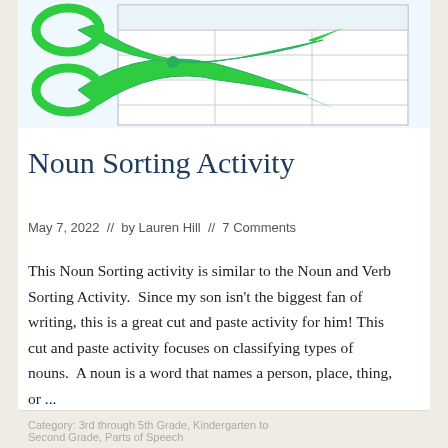[Figure (illustration): Green scissors overlaid on a worksheet with a grid/table layout, on a light blue background.]
Noun Sorting Activity
May 7, 2022  //  by Lauren Hill  //  7 Comments
This Noun Sorting activity is similar to the Noun and Verb Sorting Activity.  Since my son isn't the biggest fan of writing, this is a great cut and paste activity for him! This cut and paste activity focuses on classifying types of nouns.  A noun is a word that names a person, place, thing, or ...
Category: 3rd through 5th Grade, Kindergarten to Second Grade, Parts of Speech